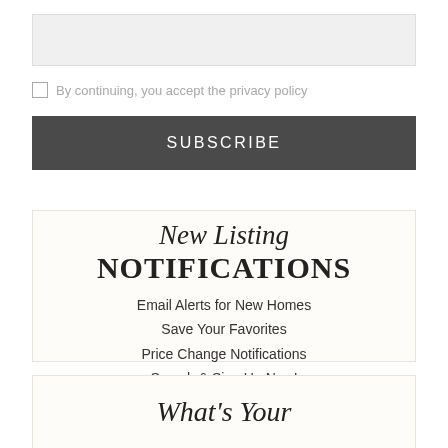[Figure (other): Input field (text box) for email or subscription entry]
By continuing, you accept the privacy policy
SUBSCRIBE
New Listing NOTIFICATIONS
Email Alerts for New Homes
Save Your Favorites
Price Change Notifications
Search & Sign Up Now!
Sign Up
What's Your